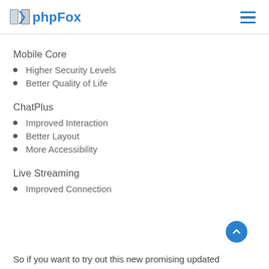phpFox
Mobile Core
Higher Security Levels
Better Quality of Life
ChatPlus
Improved Interaction
Better Layout
More Accessibility
Live Streaming
Improved Connection
So if you want to try out this new promising updated